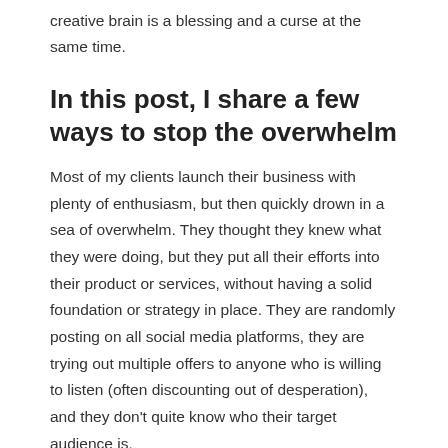creative brain is a blessing and a curse at the same time.
In this post, I share a few ways to stop the overwhelm
Most of my clients launch their business with plenty of enthusiasm, but then quickly drown in a sea of overwhelm. They thought they knew what they were doing, but they put all their efforts into their product or services, without having a solid foundation or strategy in place. They are randomly posting on all social media platforms, they are trying out multiple offers to anyone who is willing to listen (often discounting out of desperation), and they don't quite know who their target audience is.